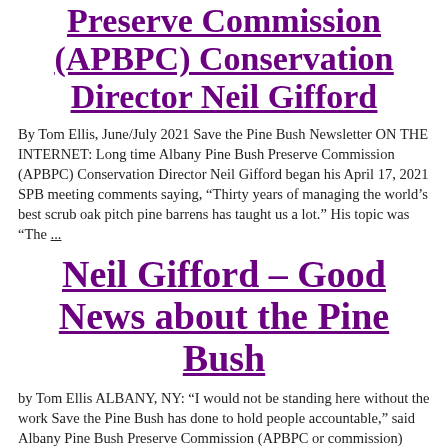Preserve Commission (APBPC) Conservation Director Neil Gifford
By Tom Ellis, June/July 2021 Save the Pine Bush Newsletter ON THE INTERNET: Long time Albany Pine Bush Preserve Commission (APBPC) Conservation Director Neil Gifford began his April 17, 2021 SPB meeting comments saying, “Thirty years of managing the world’s best scrub oak pitch pine barrens has taught us a lot.” His topic was “The ...
Neil Gifford – Good News about the Pine Bush
by Tom Ellis ALBANY, NY: “I would not be standing here without the work Save the Pine Bush has done to hold people accountable,” said Albany Pine Bush Preserve Commission (APBPC or commission) Director Neil Gifford, as he began his presentation at the May 18 SPB dinner. Neil spoke at length...